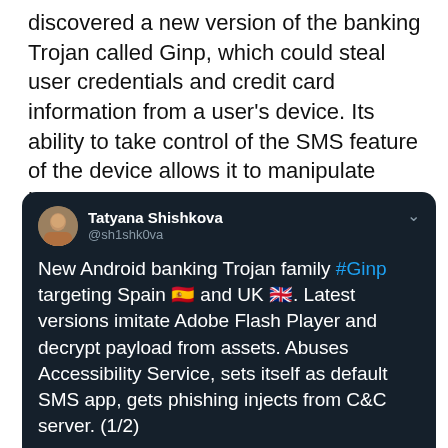discovered a new version of the banking Trojan called Ginp, which could steal user credentials and credit card information from a user's device. Its ability to take control of the SMS feature of the device allows it to manipulate banking functions. Its code was found to be manipulating 24 apps of Spanish banks.
[Figure (screenshot): Tweet by Tatyana Shishkova (@sh1shk0va) reading: 'New Android banking Trojan family #Ginp targeting Spain and UK. Latest versions imitate Adobe Flash Player and decrypt payload from assets. Abuses Accessibility Service, sets itself as default SMS app, gets phishing injects from C&C server. (1/2)' with a preview image showing code and a card details UI.]